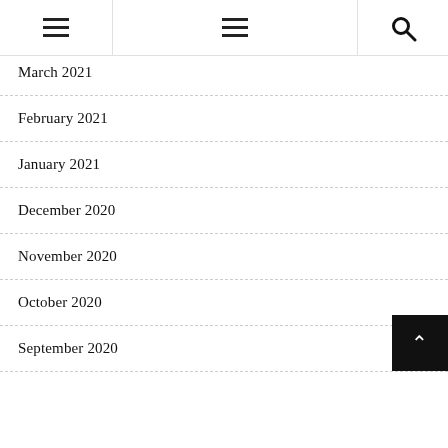≡ ≡ 🔍
March 2021
February 2021
January 2021
December 2020
November 2020
October 2020
September 2020